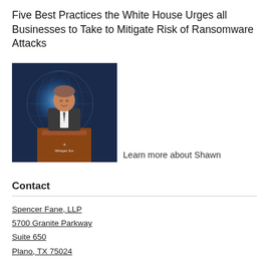Five Best Practices the White House Urges all Businesses to Take to Mitigate Risk of Ransomware Attacks
[Figure (photo): Man in suit speaking at a podium with a Mohegan Sun logo, in front of a blue digital globe backdrop]
Learn more about Shawn
Contact
Spencer Fane, LLP
5700 Granite Parkway
Suite 650
Plano, TX 75024